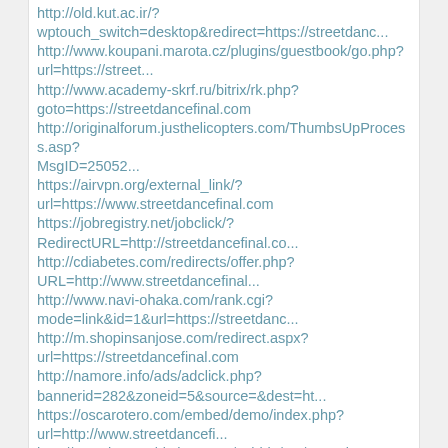http://old.kut.ac.ir/?wptouch_switch=desktop&redirect=https://streetdanc...
http://www.koupani.marota.cz/plugins/guestbook/go.php?url=https://street...
http://www.academy-skrf.ru/bitrix/rk.php?goto=https://streetdancefinal.com
http://originalforum.justhelicopters.com/ThumbsUpProcess.asp?MsgID=25052...
https://airvpn.org/external_link/?url=https://www.streetdancefinal.com
https://jobregistry.net/jobclick/?RedirectURL=http://streetdancefinal.co...
http://cdiabetes.com/redirects/offer.php?URL=http://www.streetdancefinal...
http://www.navi-ohaka.com/rank.cgi?mode=link&id=1&url=https://streetdanc...
http://m.shopinsanjose.com/redirect.aspx?url=https://streetdancefinal.com
http://namore.info/ads/adclick.php?bannerid=282&zoneid=5&source=&dest=ht...
https://oscarotero.com/embed/demo/index.php?url=http://www.streetdancefi...
http://www.browsebitches.com/cgi-bin/atc/out.cgi?u=https://streetdancefi...
https://www.dans-web.nu/klick.php?url=https://streetdancefinal.com/
https://williz.info/away?link=//streetdancefinal.com
http://old.magictower.ru/cgi-bin/redir/redir.pl?http://www.streetdancefi...
https://www.designtechsys.com/redirect-page/?rurl=http://streetdancefina...
https://teacher.piano.or.jp/redirect_link?ptna_id=100017&url=https://str...